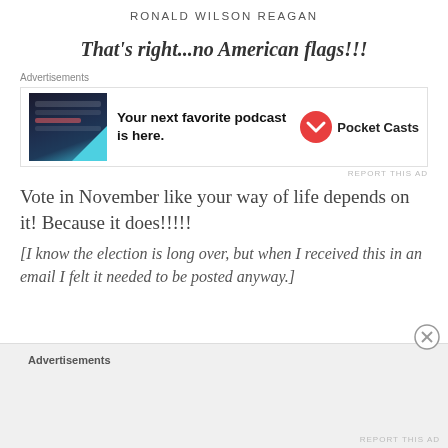RONALD WILSON REAGAN
That's right...no American flags!!!
[Figure (other): Advertisement banner for Pocket Casts podcast app showing dark UI screenshot on left, bold text 'Your next favorite podcast is here.' in center, and Pocket Casts logo on right]
Vote in November like your way of life depends on it! Because it does!!!!!
[I know the election is long over, but when I received this in an email I felt it needed to be posted anyway.]
[Figure (other): Bottom advertisement area with grey background and Advertisements label]